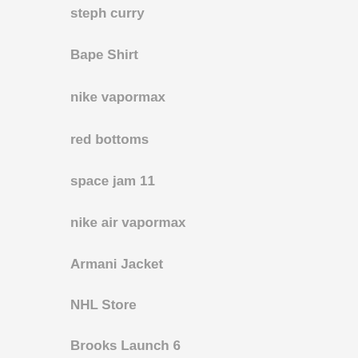steph curry
Bape Shirt
nike vapormax
red bottoms
space jam 11
nike air vapormax
Armani Jacket
NHL Store
Brooks Launch 6